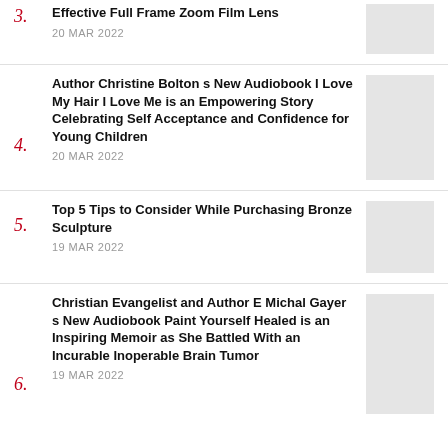3. Effective Full Frame Zoom Film Lens — 20 MAR 2022
4. Author Christine Bolton s New Audiobook I Love My Hair I Love Me is an Empowering Story Celebrating Self Acceptance and Confidence for Young Children — 20 MAR 2022
5. Top 5 Tips to Consider While Purchasing Bronze Sculpture — 19 MAR 2022
6. Christian Evangelist and Author E Michal Gayer s New Audiobook Paint Yourself Healed is an Inspiring Memoir as She Battled With an Incurable Inoperable Brain Tumor — 19 MAR 2022